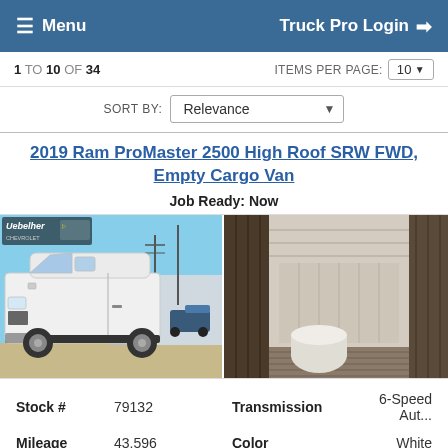Menu  Truck Pro Login
1 TO 10 OF 34   ITEMS PER PAGE: 10
SORT BY: Relevance
2019 Ram ProMaster 2500 High Roof SRW FWD, Empty Cargo Van
Job Ready: Now
[Figure (photo): Exterior side view of a white 2019 Ram ProMaster 2500 cargo van in a dealership lot]
[Figure (photo): Interior view of the empty cargo area of the 2019 Ram ProMaster 2500 van showing ribbed floor and side panels]
| Stock # | 79132 | Transmission | 6-Speed Aut... |
| Mileage | 43,596 | Color | White |